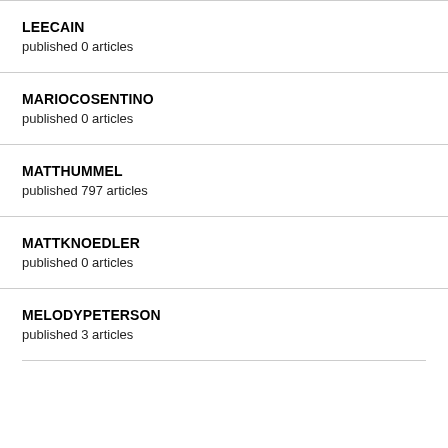LEECAIN
published 0 articles
MARIOCOSENTINO
published 0 articles
MATTHUMMEL
published 797 articles
MATTKNOEDLER
published 0 articles
MELODYPETERSON
published 3 articles